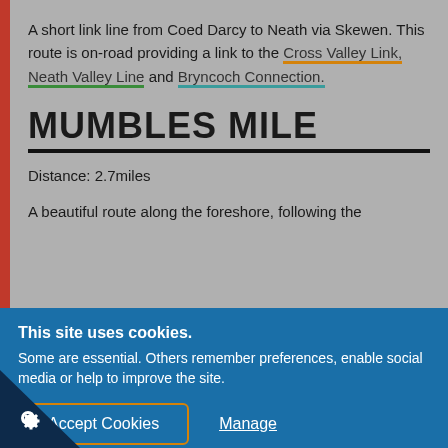A short link line from Coed Darcy to Neath via Skewen. This route is on-road providing a link to the Cross Valley Link, Neath Valley Line and Bryncoch Connection.
MUMBLES MILE
Distance: 2.7miles
A beautiful route along the foreshore, following the
This site uses cookies. Some are essential. Others remember preferences, enable social media or help to improve the site.
Accept Cookies
Manage